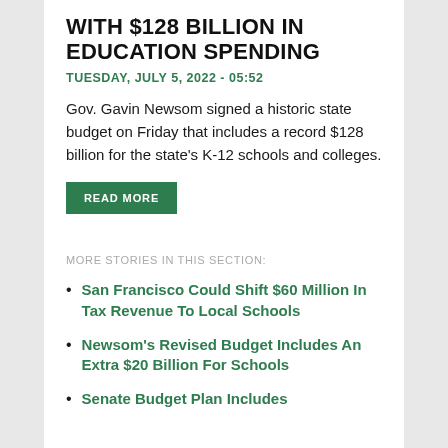WITH $128 BILLION IN EDUCATION SPENDING
TUESDAY, JULY 5, 2022 - 05:52
Gov. Gavin Newsom signed a historic state budget on Friday that includes a record $128 billion for the state's K-12 schools and colleges.
READ MORE
MORE STORIES IN THIS SECTION:
San Francisco Could Shift $60 Million In Tax Revenue To Local Schools
Newsom's Revised Budget Includes An Extra $20 Billion For Schools
Senate Budget Plan Includes